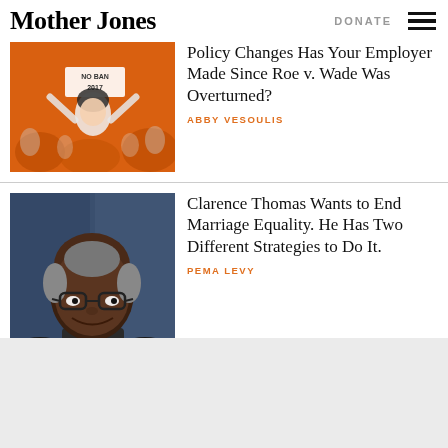Mother Jones
[Figure (photo): Orange-tinted black and white photo of a protester holding a sign at a rally related to abortion rights]
Policy Changes Has Your Employer Made Since Roe v. Wade Was Overturned?
ABBY VESOULIS
[Figure (photo): Photo of Clarence Thomas, a Black man with glasses, smiling, in front of a blue background]
Clarence Thomas Wants to End Marriage Equality. He Has Two Different Strategies to Do It.
PEMA LEVY